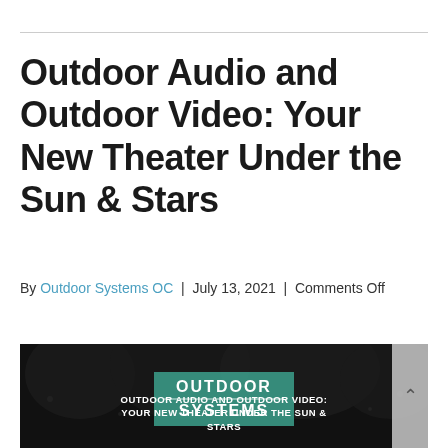Outdoor Audio and Outdoor Video: Your New Theater Under the Sun & Stars
By Outdoor Systems OC | July 13, 2021 | Comments Off
[Figure (photo): Dark nighttime outdoor scene with trees/foliage. Overlaid with the Outdoor Systems logo (teal background, white text) and the text 'OUTDOOR AUDIO AND OUTDOOR VIDEO: YOUR NEW THEATER UNDER THE SUN & STARS' in white. A navigation arrow button appears on the right side.]